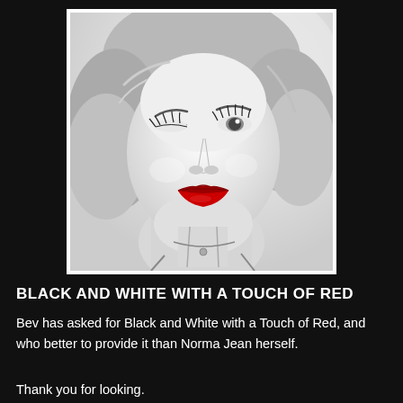[Figure (photo): Black and white portrait photo of Marilyn Monroe (Norma Jean) with red lips, looking upward, wearing a necklace, with glamorous curled blonde hair. The photo is presented with a thin white border on a black background.]
BLACK AND WHITE WITH A TOUCH OF RED
Bev has asked for Black and White with a Touch of Red, and who better to provide it than Norma Jean herself.
Thank you for looking.